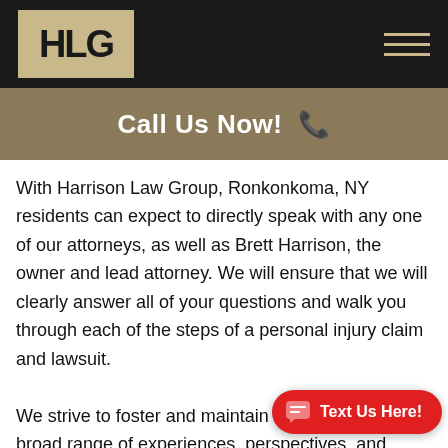[Figure (logo): HLG logo — gold/tan box with bold black letters HLG on a black header bar]
Call Us Now! 📞
With Harrison Law Group, Ronkonkoma, NY residents can expect to directly speak with any one of our attorneys, as well as Brett Harrison, the owner and lead attorney. We will ensure that we will clearly answer all of your questions and walk you through each of the steps of a personal injury claim and lawsuit.

We strive to foster and maintain a broad range of experiences, perspectives, and
Text Us Here!